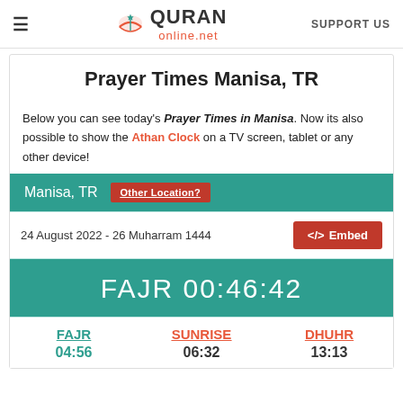≡  QURAN online.net  SUPPORT US
Prayer Times Manisa, TR
Below you can see today's Prayer Times in Manisa. Now its also possible to show the Athan Clock on a TV screen, tablet or any other device!
Manisa, TR   Other Location?
24 August 2022 - 26 Muharram 1444
FAJR 00:46:42
| FAJR | SUNRISE | DHUHR |
| --- | --- | --- |
| 04:56 | 06:32 | 13:13 |